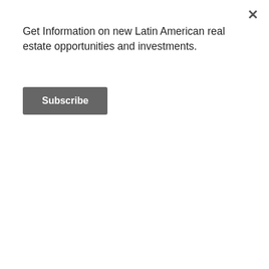Get Information on new Latin American real estate opportunities and investments.
Subscribe
[Figure (photo): Partial view of a glass building facade (blue/teal tones), cropped at top]
[Figure (photo): Interior photo of a modern furnished apartment with kitchen]
New Medellin Furnished Apartment Wi...
$ 125,000
[Figure (photo): Interior photo of a penthouse living room with warm wood tones]
Huge Medellin Penthouse for Sale in...
$ 270,000
[Figure (photo): Interior photo of a 3-bedroom apartment with Christmas tree]
3 Bedroom Apartment for Sale in Pro...
$ 235,000
[Figure (photo): Aerial/landscape photo of Colombia farm with green hills]
Colombia Farm Investment Timber Cat...